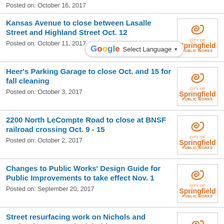Posted on: October 16, 2017
Kansas Avenue to close between Lasalle Street and Highland Street Oct. 12
Posted on: October 11, 2017
[Figure (logo): City of Springfield Public Works logo with orange S emblem]
Heer's Parking Garage to close Oct. [dates] and 15 for fall cleaning
Posted on: October 3, 2017
[Figure (logo): City of Springfield Public Works logo with orange S emblem]
2200 North LeCompte Road to close at BNSF railroad crossing Oct. 9 - 15
Posted on: October 2, 2017
[Figure (logo): City of Springfield Public Works logo with orange S emblem]
Changes to Public Works' Design Guide for Public Improvements to take effect Nov. 1
Posted on: September 20, 2017
[Figure (logo): City of Springfield Public Works logo with orange S emblem]
Street resurfacing work on Nichols and Orchard Crest rescheduled for Sept. 21